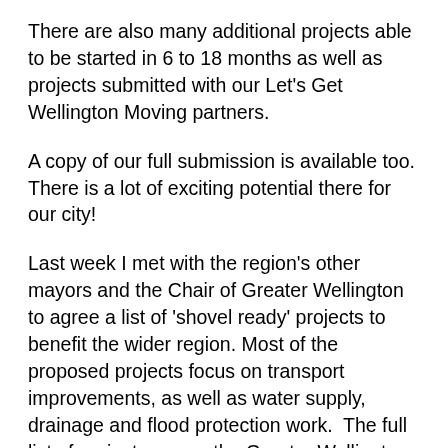There are also many additional projects able to be started in 6 to 18 months as well as projects submitted with our Let's Get Wellington Moving partners.
A copy of our full submission is available too. There is a lot of exciting potential there for our city!
Last week I met with the region's other mayors and the Chair of Greater Wellington to agree a list of 'shovel ready' projects to benefit the wider region. Most of the proposed projects focus on transport improvements, as well as water supply, drainage and flood protection work.  The full list of projects are on the Greater Wellington website.